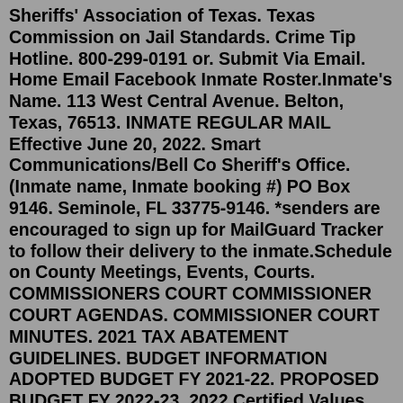Sheriffs' Association of Texas. Texas Commission on Jail Standards. Crime Tip Hotline. 800-299-0191 or. Submit Via Email. Home Email Facebook Inmate Roster.Inmate's Name. 113 West Central Avenue. Belton, Texas, 76513. INMATE REGULAR MAIL Effective June 20, 2022. Smart Communications/Bell Co Sheriff's Office. (Inmate name, Inmate booking #) PO Box 9146. Seminole, FL 33775-9146. *senders are encouraged to sign up for MailGuard Tracker to follow their delivery to the inmate.Schedule on County Meetings, Events, Courts. COMMISSIONERS COURT COMMISSIONER COURT AGENDAS. COMMISSIONER COURT MINUTES. 2021 TAX ABATEMENT GUIDELINES. BUDGET INFORMATION ADOPTED BUDGET FY 2021-22. PROPOSED BUDGET FY 2022-23. 2022 Certified Values Jack Countywww.montgomerycountypolicereporter.comCity 510 Leon Street Gatesville TX 7652 Coryell County Jail offender lookup Arrest Records Bookings Cell